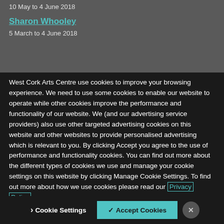10 May to 4 June 2018
Sharon Whooley
5 March to 4 June 2018
West Cork Arts Centre use cookies to improve your browsing experience. We need to use some cookies to enable our website to operate while other cookies improve the performance and functionality of our website. We (and our advertising service providers) also use other targeted advertising cookies on this website and other websites to provide personalised advertising which is relevant to you. By clicking Accept you agree to the use of performance and functionality cookies. You can find out more about the different types of cookies we use and manage your cookie settings on this website by clicking Manage Cookie Settings. To find out more about how we use cookies please read our Privacy Policy
Cookie Settings
✓ Accept Cookies